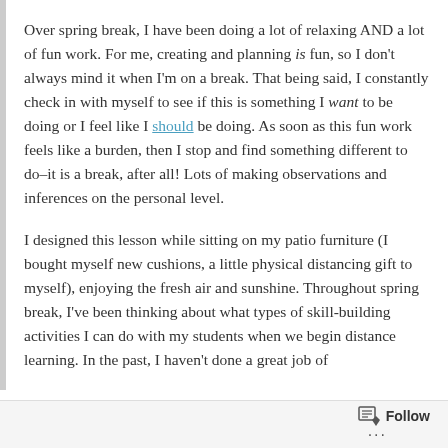Over spring break, I have been doing a lot of relaxing AND a lot of fun work. For me, creating and planning is fun, so I don't always mind it when I'm on a break. That being said, I constantly check in with myself to see if this is something I want to be doing or I feel like I should be doing. As soon as this fun work feels like a burden, then I stop and find something different to do–it is a break, after all! Lots of making observations and inferences on the personal level.
I designed this lesson while sitting on my patio furniture (I bought myself new cushions, a little physical distancing gift to myself), enjoying the fresh air and sunshine. Throughout spring break, I've been thinking about what types of skill-building activities I can do with my students when we begin distance learning. In the past, I haven't done a great job of
Follow ...